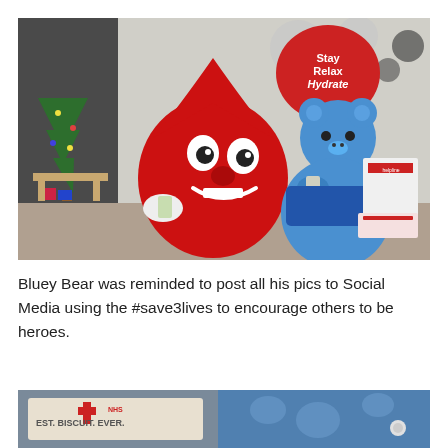[Figure (photo): A red blood drop mascot (with a smiling face) and a blue teddy bear (Bluey Bear) sitting together indoors near a Christmas tree. A red balloon reads 'Stay Relax Hydrate'. Information leaflets visible in background.]
Bluey Bear was reminded to post all his pics to Social Media using the #save3lives to encourage others to be heroes.
[Figure (photo): Partial image showing a blue furry bear mascot next to a sign reading 'BEST BISCUIT. EVER.' with NHS Blood donation branding.]